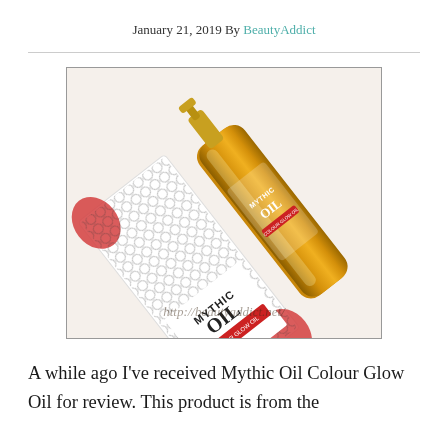January 21, 2019 By BeautyAddict
[Figure (photo): L'Oreal Mythic Oil Colour Glow Oil bottle in gold with ornate packaging, watermarked with http://beautyaddict.net/]
A while ago I've received Mythic Oil Colour Glow Oil for review. This product is from the